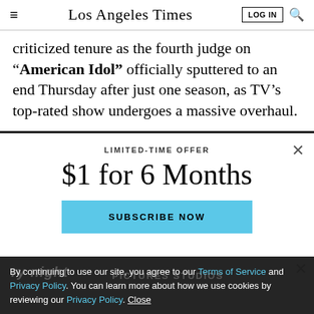Los Angeles Times
criticized tenure as the fourth judge on "American Idol" officially sputtered to an end Thursday after just one season, as TV's top-rated show undergoes a massive overhaul.
LIMITED-TIME OFFER
$1 for 6 Months
SUBSCRIBE NOW
By continuing to use our site, you agree to our Terms of Service and Privacy Policy. You can learn more about how we use cookies by reviewing our Privacy Policy. Close